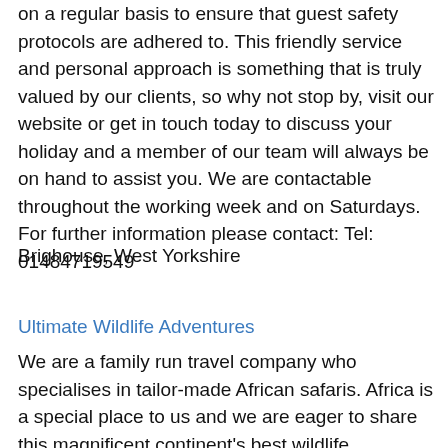on a regular basis to ensure that guest safety protocols are adhered to. This friendly service and personal approach is something that is truly valued by our clients, so why not stop by, visit our website or get in touch today to discuss your holiday and a member of our team will always be on hand to assist you. We are contactable throughout the working week and on Saturdays. For further information please contact: Tel: 01484719549
Brighouse, West Yorkshire
Ultimate Wildlife Adventures
We are a family run travel company who specialises in tailor-made African safaris. Africa is a special place to us and we are eager to share this magnificent continent's best wildlife experiences, landscapes and